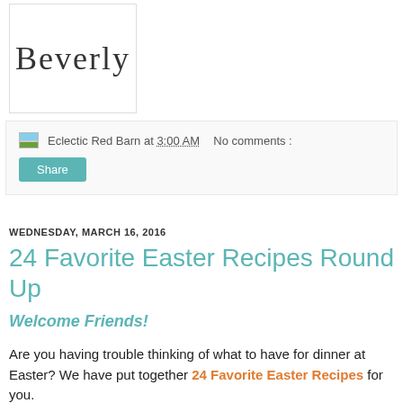[Figure (logo): Cursive signature logo reading 'Beverly' in handwritten script, inside a bordered box]
Eclectic Red Barn at 3:00 AM   No comments :
Share
WEDNESDAY, MARCH 16, 2016
24 Favorite Easter Recipes Round Up
Welcome Friends!
Are you having trouble thinking of what to have for dinner at Easter? We have put together 24 Favorite Easter Recipes for you.